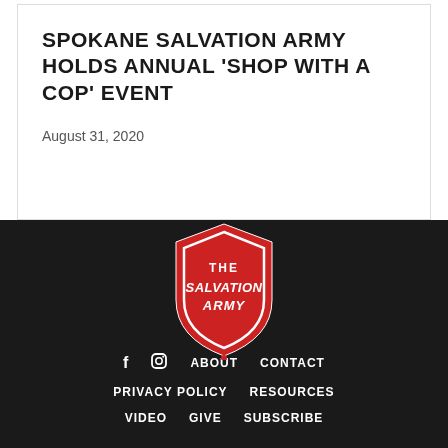SPOKANE SALVATION ARMY HOLDS ANNUAL ‘SHOP WITH A COP’ EVENT
August 31, 2020
[Figure (logo): The Salvation Army shield logo in red with white text]
f  □  ABOUT  CONTACT  PRIVACY POLICY  RESOURCES  VIDEO  GIVE  SUBSCRIBE